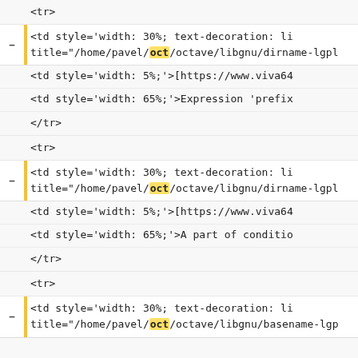<tr>
<td style='width: 30%; text-decoration: li
    title="/home/pavel/oct/octave/libgnu/dirname-lgpl
<td style='width: 5%;'>[https://www.viva64
<td style='width: 65%;'>Expression 'prefix
</tr>
<tr>
<td style='width: 30%; text-decoration: li
    title="/home/pavel/oct/octave/libgnu/dirname-lgpl
<td style='width: 5%;'>[https://www.viva64
<td style='width: 65%;'>A part of conditio
</tr>
<tr>
<td style='width: 30%; text-decoration: li
    title="/home/pavel/oct/octave/libgnu/basename-lgp